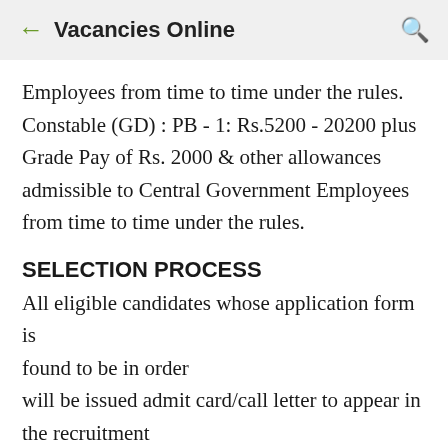Vacancies Online
Employees from time to time under the rules. Constable (GD) : PB - 1: Rs.5200 - 20200 plus Grade Pay of Rs. 2000 & other allowances admissible to Central Government Employees from time to time under the rules.
SELECTION PROCESS
All eligible candidates whose application form is found to be in order will be issued admit card/call letter to appear in the recruitment process i.e. trial/interview. Candidates will have to